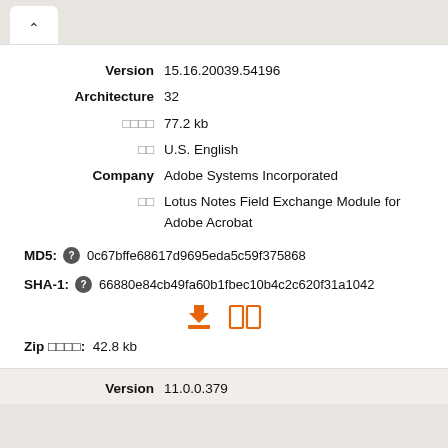Version  15.16.20039.54196
Architecture  32
□□□□  77.2 kb
□□  U.S. English
Company  Adobe Systems Incorporated
□□  Lotus Notes Field Exchange Module for Adobe Acrobat
MD5: ❓ 0c67bffe68617d9695eda5c59f375868
SHA-1: ❓ 66880e84cb49fa60b1fbec10b4c2c620f31a1042
Zip □□□□:  42.8 kb
Version  11.0.0.379